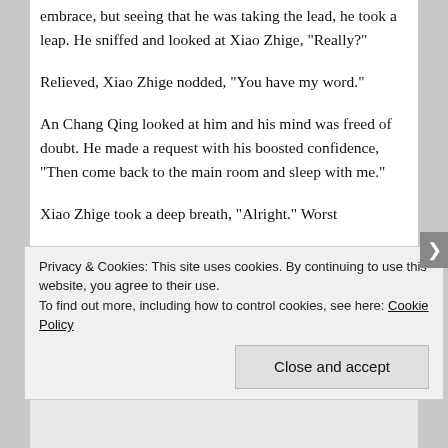embrace, but seeing that he was taking the lead, he took a leap. He sniffed and looked at Xiao Zhige, “Really?”
Relieved, Xiao Zhige nodded, “You have my word.”
An Chang Qing looked at him and his mind was freed of doubt. He made a request with his boosted confidence, “Then come back to the main room and sleep with me.”
Xiao Zhige took a deep breath, “Alright.” Worst
Privacy & Cookies: This site uses cookies. By continuing to use this website, you agree to their use.
To find out more, including how to control cookies, see here: Cookie Policy